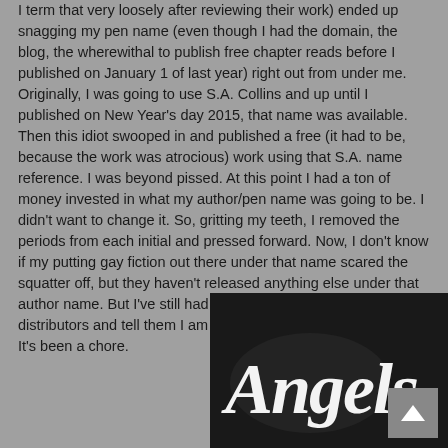I term that very loosely after reviewing their work) ended up snagging my pen name (even though I had the domain, the blog, the wherewithal to publish free chapter reads before I published on January 1 of last year) right out from under me. Originally, I was going to use S.A. Collins and up until I published on New Year's day 2015, that name was available. Then this idiot swooped in and published a free (it had to be, because the work was atrocious) work using that S.A. name reference. I was beyond pissed. At this point I had a ton of money invested in what my author/pen name was going to be. I didn't want to change it. So, gritting my teeth, I removed the periods from each initial and pressed forward. Now, I don't know if my putting gay fiction out there under that name scared the squatter off, but they haven't released anything else under that author name. But I've still had to go back to numerous distributors and tell them I am NOT S.A. Collins but SA Collins. It's been a chore.
[Figure (photo): Dark background image with cursive white script text reading 'Angels', partially visible, with a grey scroll-to-top button in bottom right corner.]